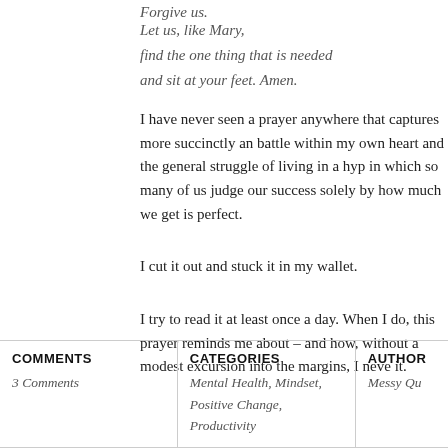Forgive us.
Let us, like Mary,
find the one thing that is needed
and sit at your feet. Amen.
I have never seen a prayer anywhere that captures more succinctly and the battle within my own heart and the general struggle of living in a hyp in which so many of us judge our success solely by how much we get is perfect.
I cut it out and stuck it in my wallet.
I try to read it at least once a day. When I do, this prayer reminds me about – and how, without a modest excursion into the margins, I neve it.
| COMMENTS | CATEGORIES | AUTHOR |
| --- | --- | --- |
| 3 Comments | Mental Health, Mindset,
Positive Change,
Productivity | Messy Qu |